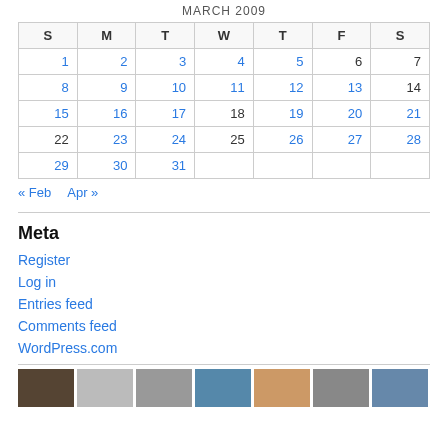MARCH 2009
| S | M | T | W | T | F | S |
| --- | --- | --- | --- | --- | --- | --- |
| 1 | 2 | 3 | 4 | 5 | 6 | 7 |
| 8 | 9 | 10 | 11 | 12 | 13 | 14 |
| 15 | 16 | 17 | 18 | 19 | 20 | 21 |
| 22 | 23 | 24 | 25 | 26 | 27 | 28 |
| 29 | 30 | 31 |  |  |  |  |
« Feb   Apr »
Meta
Register
Log in
Entries feed
Comments feed
WordPress.com
[Figure (photo): Row of small thumbnail images at the bottom of the page]